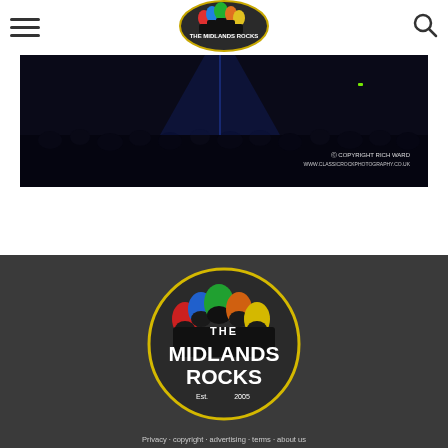The Midlands Rocks — navigation header with hamburger menu, logo, and search icon
[Figure (photo): Dark concert/gig photograph showing a blue-lit stage with crowd silhouettes. Watermark reads: COPYRIGHT RICH WARD / WWW.CLASSICROCKPHOTOGRAPHY.CO.UK]
[Figure (logo): The Midlands Rocks circular logo on dark grey background. Features colourful rock-hair silhouettes (red, blue, green, orange, yellow) arranged in an arc above bold white text 'MIDLANDS ROCKS' with 'THE' at the top and 'Est. 2005' at the bottom, inside a yellow circle border.]
Footer text (partial, cut off at bottom)